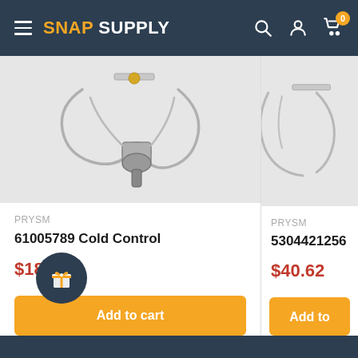SNAP SUPPLY
[Figure (photo): Product photo of 61005789 Cold Control thermostat part with metal coil and valve on light gray background]
PRYSM
61005789 Cold Control
$18.97
Add to cart
[Figure (photo): Product photo of 5304421256 Cold Control part with metal coil on light gray background (partially visible)]
PRYSM
5304421256 Cold Co...
$40.62
Add to